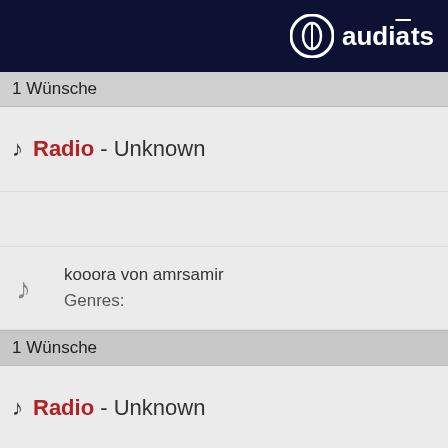audiats
1 Wünsche
Radio - Unknown
kooora von amrsamir
Genres:
1 Wünsche
Radio - Unknown
musik von Joni
Genres: Pop
20 Wünsche